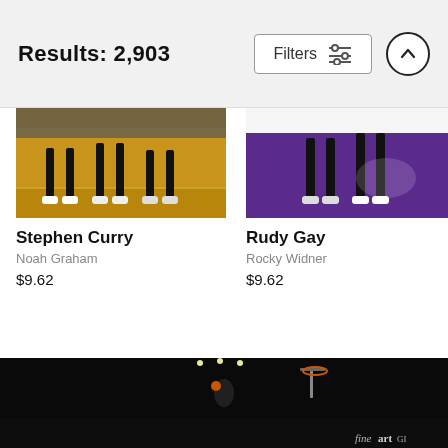Results: 2,903
Filters
Stephen Curry
Noah Graham
$9.62
Rudy Gay
Rocky Widner
$9.62
[Figure (photo): Basketball player dunking in a dark arena with crowd in background, blue LED court ring visible, fine art gallery watermark in bottom right]